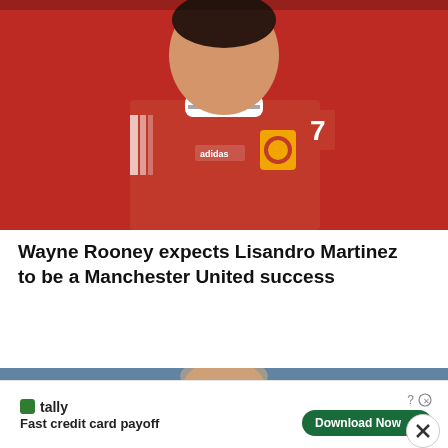[Figure (photo): Soccer player wearing Manchester United red Adidas jersey with club badge, crowd in background]
Wayne Rooney expects Lisandro Martinez to be a Manchester United success
[Figure (photo): Soccer player wearing light blue kit, blurred stadium background, with notification bell icon overlay and close button]
[Figure (other): Tally app advertisement banner: Fast credit card payoff, Download Now button]